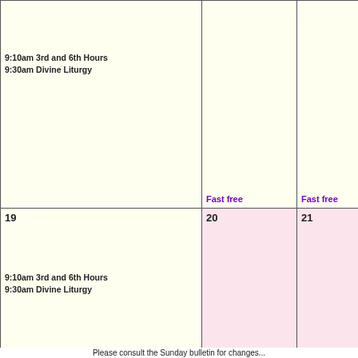| 9:10am 3rd and 6th Hours
9:30am Divine Liturgy
[no num shown] | Fast free | Fast free | Fast free | F... |
| 19
9:10am 3rd and 6th Hours
9:30am Divine Liturgy | 20
Fast | 21
Fast | 22
Fast | 2
F... |
| 26
9:10am 3rd and 6th Hours
9:30am Divine Liturgy
Fast: wine & oil | 27
Fast | 28
Fast | 29
Ss. Peter & Paul
Fast: fish, wine, & oil | 3... |
Please consult the Sunday bulletin for changes...